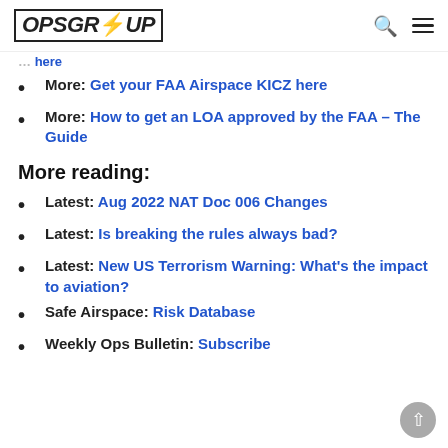OPSGROUP
More: Get your FAA Airspace RICZ here
More: How to get an LOA approved by the FAA – The Guide
More reading:
Latest: Aug 2022 NAT Doc 006 Changes
Latest: Is breaking the rules always bad?
Latest: New US Terrorism Warning: What's the impact to aviation?
Safe Airspace: Risk Database
Weekly Ops Bulletin: Subscribe